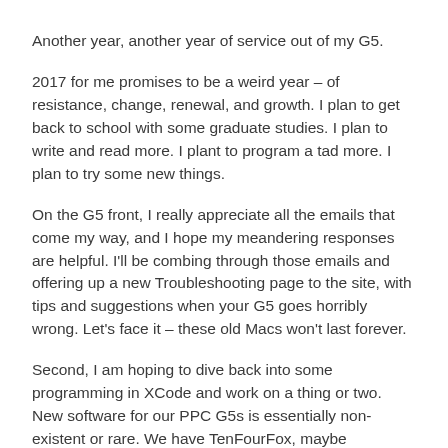Another year, another year of service out of my G5.
2017 for me promises to be a weird year – of resistance, change, renewal, and growth. I plan to get back to school with some graduate studies. I plan to write and read more. I plant to program a tad more. I plan to try some new things.
On the G5 front, I really appreciate all the emails that come my way, and I hope my meandering responses are helpful. I'll be combing through those emails and offering up a new Troubleshooting page to the site, with tips and suggestions when your G5 goes horribly wrong. Let's face it – these old Macs won't last forever.
Second, I am hoping to dive back into some programming in XCode and work on a thing or two. New software for our PPC G5s is essentially non-existent or rare. We have TenFourFox, maybe